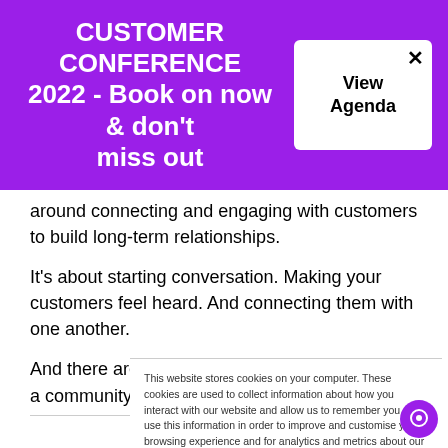CUSTOMER CONFERENCE 2022 - Book on now & don't miss out
View Agenda
around connecting and engaging with customers to build long-term relationships.
It's about starting conversation. Making your customers feel heard. And connecting them with one another.
And there are so many ways for brands to build a community.
This website stores cookies on your computer. These cookies are used to collect information about how you interact with our website and allow us to remember you. We use this information in order to improve and customise your browsing experience and for analytics and metrics about our visitors both on this website and other media. To find out more about the cookies we use, see our Privacy Policy.
Accept